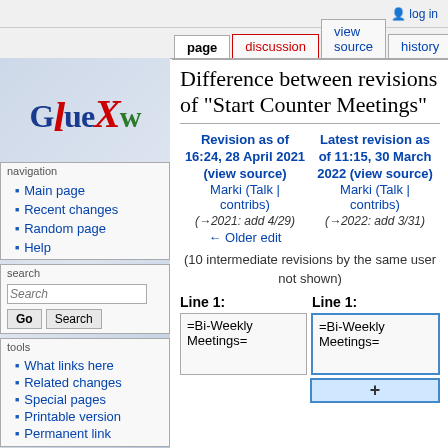log in
page | discussion | view source | history
[Figure (logo): GlueX logo with stylized text: blue G, blue LUE, red italic X, green w]
Difference between revisions of "Start Counter Meetings"
navigation
Main page
Recent changes
Random page
Help
search
tools
What links here
Related changes
Special pages
Printable version
Permanent link
| Revision as of 16:24, 28 April 2021 (view source) | Latest revision as of 11:15, 30 March 2022 (view source) |
| --- | --- |
| Marki (Talk | contribs) | Marki (Talk | contribs) |
| (→2021: add 4/29) | (→2022: add 3/31) |
| ← Older edit |  |
(10 intermediate revisions by the same user not shown)
Line 1:
Line 1:
=Bi-Weekly Meetings=
=Bi-Weekly Meetings=